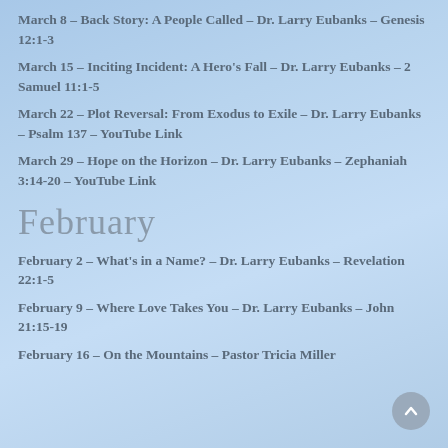March 8 – Back Story: A People Called – Dr. Larry Eubanks – Genesis 12:1-3
March 15 – Inciting Incident: A Hero's Fall – Dr. Larry Eubanks – 2 Samuel 11:1-5
March 22 – Plot Reversal: From Exodus to Exile – Dr. Larry Eubanks – Psalm 137 – YouTube Link
March 29 – Hope on the Horizon – Dr. Larry Eubanks – Zephaniah 3:14-20 – YouTube Link
February
February 2 – What's in a Name? – Dr. Larry Eubanks – Revelation 22:1-5
February 9 – Where Love Takes You – Dr. Larry Eubanks – John 21:15-19
February 16 – On the Mountains – Pastor Tricia Miller